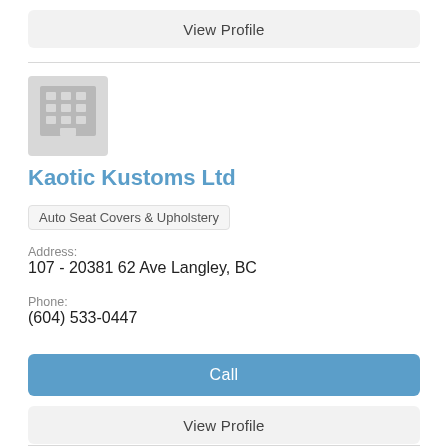View Profile
[Figure (illustration): Building/office placeholder icon in grey]
Kaotic Kustoms Ltd
Auto Seat Covers & Upholstery
Address:
107 - 20381 62 Ave Langley, BC
Phone:
(604) 533-0447
Call
View Profile